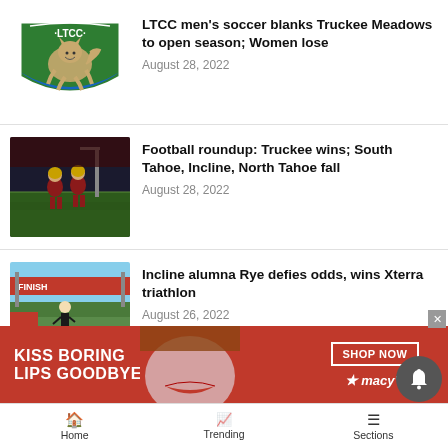[Figure (logo): LTCC coyote shield logo — teal/green shield with a coyote and text LTCC]
LTCC men's soccer blanks Truckee Meadows to open season; Women lose
August 28, 2022
[Figure (photo): Football players in action on a field, dark red jerseys]
Football roundup: Truckee wins; South Tahoe, Incline, North Tahoe fall
August 28, 2022
[Figure (photo): Runner crossing finish line at Xterra triathlon event, red finish banner visible]
Incline alumna Rye defies odds, wins Xterra triathlon
August 26, 2022
[Figure (infographic): Macy's advertisement banner: KISS BORING LIPS GOODBYE with SHOP NOW button and Macy's star logo, woman's face in background]
Home   Trending   Sections